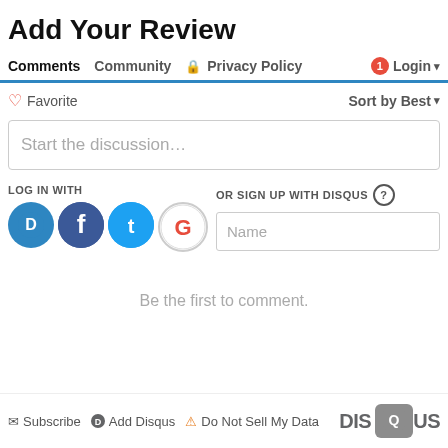Add Your Review
Comments  Community  🔒 Privacy Policy  1  Login ▾
♡ Favorite    Sort by Best ▾
Start the discussion...
LOG IN WITH
OR SIGN UP WITH DISQUS ?
Name
Be the first to comment.
✉ Subscribe  D Add Disqus  ⚠ Do Not Sell My Data   DISQUS